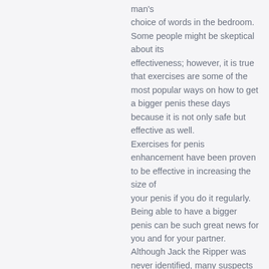man's choice of words in the bedroom. Some people might be skeptical about its effectiveness; however, it is true that exercises are some of the most popular ways on how to get a bigger penis these days because it is not only safe but effective as well. Exercises for penis enhancement have been proven to be effective in increasing the size of your penis if you do it regularly. Being able to have a bigger penis can be such great news for you and for your partner. Although Jack the Ripper was never identified, many suspects were named while the case was being investigated, including the famous barrister Montague John Druitt. If it so happens to be Saturday at 8 pm, while I'm putting the kids to bed I explain, "Mommy and daddy are cleaning our room tonight, so don't come in! The problem is, some men just don't have the knowledge on how to make a girl come.